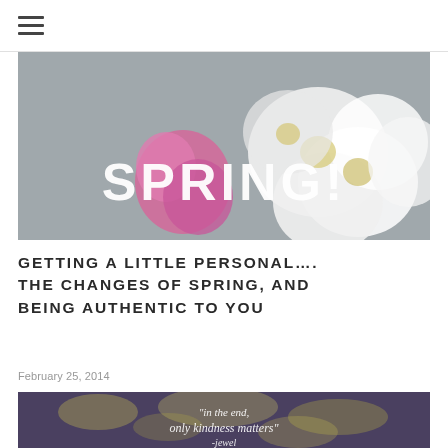≡ (hamburger menu icon)
[Figure (photo): Photograph of white and pink chrysanthemum/daisy flowers with the word SPRING! overlaid in large white bold text]
GETTING A LITTLE PERSONAL…. THE CHANGES OF SPRING, AND BEING AUTHENTIC TO YOU
February 25, 2014
[Figure (photo): Bokeh photograph with golden light and handwritten cursive text reading: "in the end, only kindness matters" - jewel]